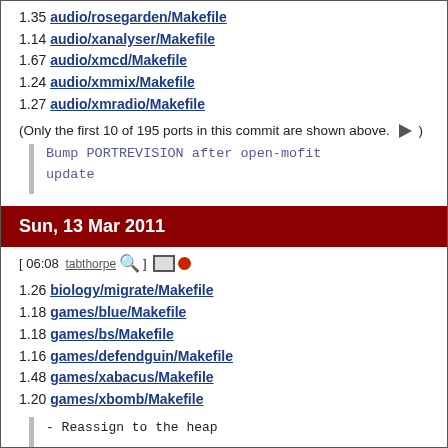1.35 audio/rosegarden/Makefile
1.14 audio/xanalyser/Makefile
1.67 audio/xmcd/Makefile
1.24 audio/xmmix/Makefile
1.27 audio/xmradio/Makefile
(Only the first 10 of 195 ports in this commit are shown above. ▶)
Bump PORTREVISION after open-mofit update
Sun, 13 Mar 2011
[ 06:08 tabthorpe ]
1.26 biology/migrate/Makefile
1.18 games/blue/Makefile
1.18 games/bs/Makefile
1.16 games/defendguin/Makefile
1.48 games/xabacus/Makefile
1.20 games/xbomb/Makefile
- Reassign to the heap

PR:              ports/155507
ports/155508